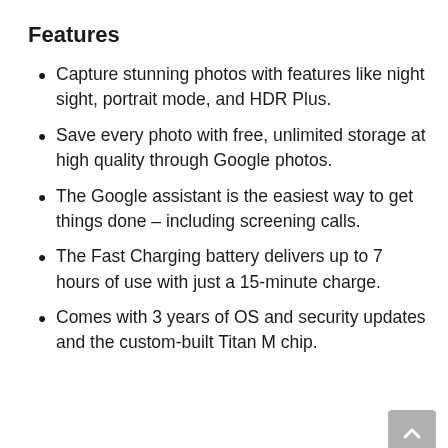Features
Capture stunning photos with features like night sight, portrait mode, and HDR Plus.
Save every photo with free, unlimited storage at high quality through Google photos.
The Google assistant is the easiest way to get things done – including screening calls.
The Fast Charging battery delivers up to 7 hours of use with just a 15-minute charge.
Comes with 3 years of OS and security updates and the custom-built Titan M chip.